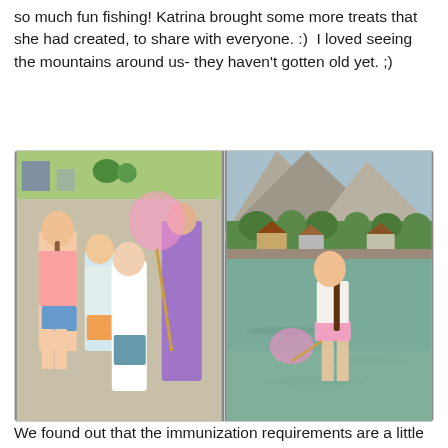so much fun fishing! Katrina brought some more treats that she had created, to share with everyone. :)  I loved seeing the mountains around us- they haven't gotten old yet. ;)
[Figure (photo): Two side-by-side photos. Left: children on a gravel path, a girl with braids holding a pink butterfly net along with two younger children and an adult woman in background, green grass and park visible. Right: A girl with a braid standing waist-deep in a lake with a pink net, mountain and residential houses in background.]
We found out that the immunization requirements are a little